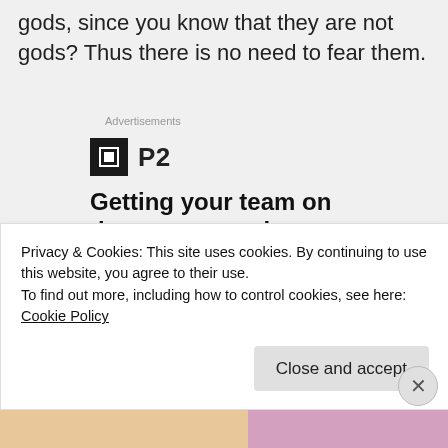gods, since you know that they are not gods? Thus there is no need to fear them.
Advertisements
[Figure (logo): P2 logo with black square icon and bold P2 text, followed by bold tagline: Getting your team on the same page is easy. And free. Below are profile picture avatars including a blue circle.]
Privacy & Cookies: This site uses cookies. By continuing to use this website, you agree to their use.
To find out more, including how to control cookies, see here: Cookie Policy
Close and accept